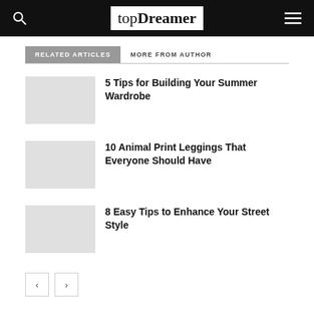topDreamer
RELATED ARTICLES
MORE FROM AUTHOR
5 Tips for Building Your Summer Wardrobe
10 Animal Print Leggings That Everyone Should Have
8 Easy Tips to Enhance Your Street Style